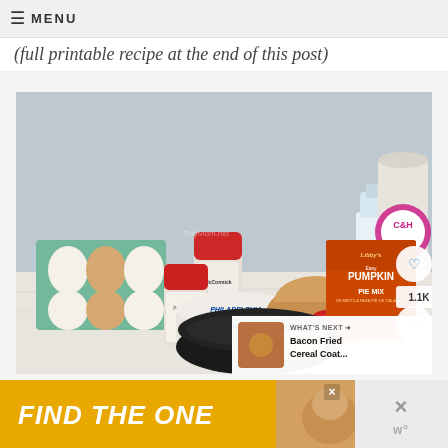≡ MENU
(full printable recipe at the end of this post)
[Figure (photo): Baking ingredients laid out on a marble surface including eggs in a carton, McCormick spices (pumpkin pie spice and ground cinnamon), Philadelphia cream cheese, a glass milk bottle, C&H sugar bag, Libby's Easy Pumpkin Pie Mix can, a dark mixing bowl, and graham crackers. Social share icons (heart with 1.1K count) visible on right side. A 'What's Next: Bacon Fried Cereal Coat...' overlay in bottom right corner.]
[Figure (photo): Advertisement banner showing 'FIND THE ONE' text on yellow background with a dog image on the right side, and an X close button on the far right.]